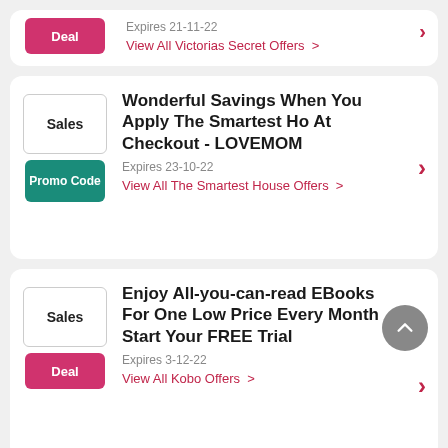Expires 21-11-22 | View All Victorias Secret Offers > | Deal badge
Wonderful Savings When You Apply The Smartest Ho At Checkout - LOVEMOM | Sales | Promo Code | Expires 23-10-22 | View All The Smartest House Offers >
Enjoy All-you-can-read EBooks For One Low Price Every Month Start Your FREE Trial | Sales | Deal | Expires 3-12-22 | View All Kobo Offers >